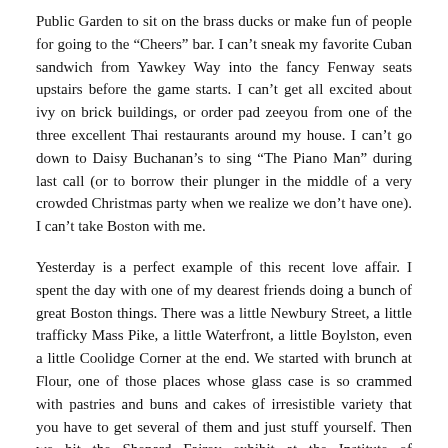Public Garden to sit on the brass ducks or make fun of people for going to the “Cheers” bar. I can’t sneak my favorite Cuban sandwich from Yawkey Way into the fancy Fenway seats upstairs before the game starts. I can’t get all excited about ivy on brick buildings, or order pad zeeyou from one of the three excellent Thai restaurants around my house. I can’t go down to Daisy Buchanan’s to sing “The Piano Man” during last call (or to borrow their plunger in the middle of a very crowded Christmas party when we realize we don’t have one). I can’t take Boston with me.
Yesterday is a perfect example of this recent love affair. I spent the day with one of my dearest friends doing a bunch of great Boston things. There was a little Newbury Street, a little trafficky Mass Pike, a little Waterfront, a little Boylston, even a little Coolidge Corner at the end. We started with brunch at Flour, one of those places whose glass case is so crammed with pastries and buns and cakes of irresistible variety that you have to get several of them and just stuff yourself. Then we hit the Shepard Fairey exhibit at the Institute of Contemporary Art which was fun because his artwork has been appearing all over the streets of Boston ever since I moved here (way before he was a fancy-pants ICA exhibitor) and